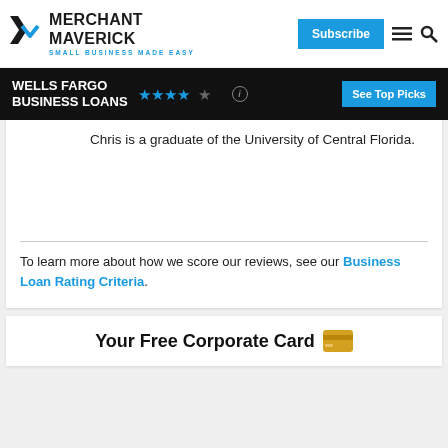MERCHANT MAVERICK — SMALL BUSINESS MADE EASY | Subscribe
WELLS FARGO BUSINESS LOANS ★★★★☆ — See Top Picks
Chris is a graduate of the University of Central Florida.
To learn more about how we score our reviews, see our Business Loan Rating Criteria.
Your Free Corporate Card 💳